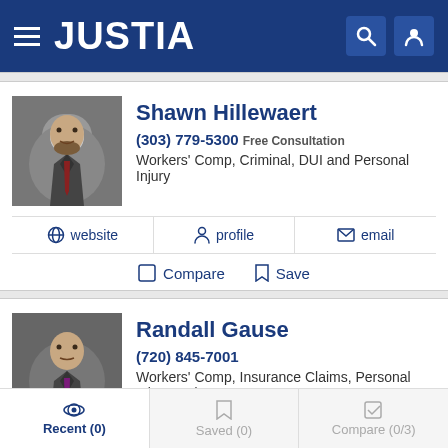JUSTIA
Shawn Hillewaert
(303) 779-5300 Free Consultation
Workers' Comp, Criminal, DUI and Personal Injury
website  profile  email  Compare  Save
Randall Gause
(720) 845-7001
Workers' Comp, Insurance Claims, Personal Injury and Pro...
website  profile  email
Recent (0)  Saved (0)  Compare (0/3)